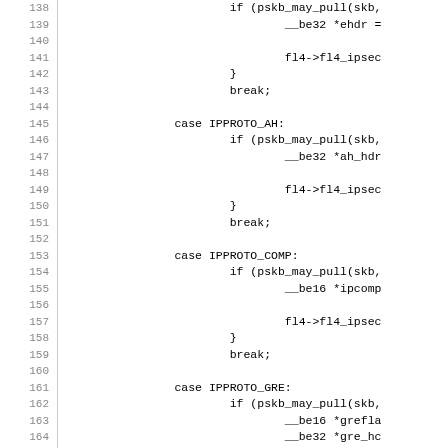[Figure (screenshot): Source code listing showing C code with line numbers 138-167, featuring switch-case statements for IPPROTO_AH, IPPROTO_COMP, IPPROTO_GRE protocols with pskb_may_pull calls and fl4 assignments.]